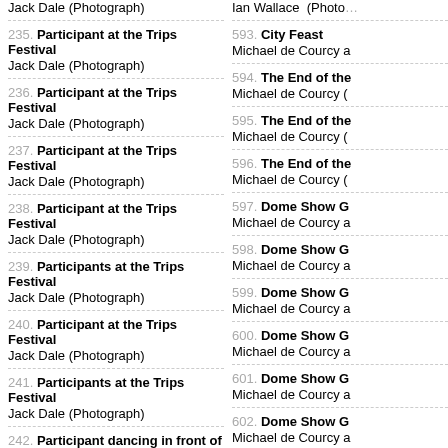Jack Dale (Photograph)
235. Participant at the Trips Festival
Jack Dale (Photograph)
236. Participant at the Trips Festival
Jack Dale (Photograph)
237. Participant at the Trips Festival
Jack Dale (Photograph)
238. Participant at the Trips Festival
Jack Dale (Photograph)
239. Participants at the Trips Festival
Jack Dale (Photograph)
240. Participant at the Trips Festival
Jack Dale (Photograph)
241. Participants at the Trips Festival
Jack Dale (Photograph)
242. Participant dancing in front of the bandstand at the Trips Festival
Jack Dale (Photograph)
243. Participant dancing in front of the bandstand at the Trips Festival
Jack Dale (Photograph)
244. Participant dancing in front of the bandstand at the Trips Festival
Ian Wallace (Photograph)
593. City Feast
Michael de Courcy a
594. The End of the
Michael de Courcy (
595. The End of the
Michael de Courcy (
596. The End of the
Michael de Courcy (
597. Dome Show G
Michael de Courcy a
598. Dome Show G
Michael de Courcy a
599. Dome Show G
Michael de Courcy a
600. Dome Show G
Michael de Courcy a
601. Dome Show G
Michael de Courcy a
602. Dome Show G
Michael de Courcy a
603. Dome Show G